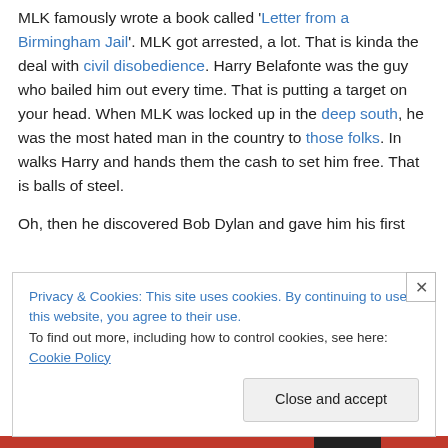MLK famously wrote a book called 'Letter from a Birmingham Jail'. MLK got arrested, a lot. That is kinda the deal with civil disobedience. Harry Belafonte was the guy who bailed him out every time. That is putting a target on your head. When MLK was locked up in the deep south, he was the most hated man in the country to those folks. In walks Harry and hands them the cash to set him free. That is balls of steel.

Oh, then he discovered Bob Dylan and gave him his first
Privacy & Cookies: This site uses cookies. By continuing to use this website, you agree to their use.
To find out more, including how to control cookies, see here: Cookie Policy